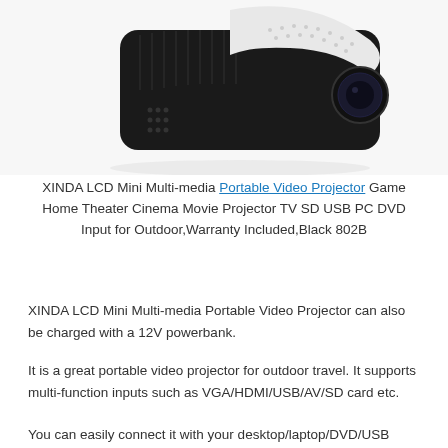[Figure (photo): Partial view of a XINDA LCD Mini multi-media portable video projector, black with white accents, showing the top and front portion of the device against a white background.]
XINDA LCD Mini Multi-media Portable Video Projector Game Home Theater Cinema Movie Projector TV SD USB PC DVD Input for Outdoor,Warranty Included,Black 802B
XINDA LCD Mini Multi-media Portable Video Projector can also be charged with a 12V powerbank.
It is a great portable video projector for outdoor travel. It supports multi-function inputs such as VGA/HDMI/USB/AV/SD card etc.
You can easily connect it with your desktop/laptop/DVD/USB port...